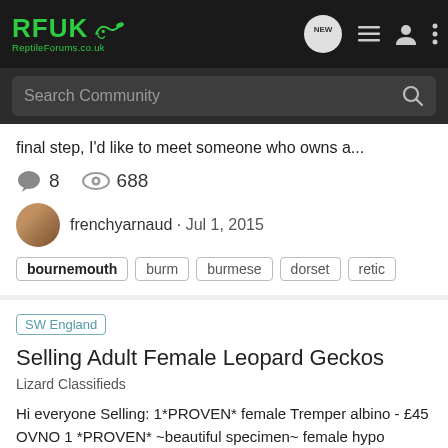[Figure (logo): RFUK ReptileForums.co.uk logo in green on dark background, with navigation icons (NEW bubble, list, user, dots) on the right]
[Figure (screenshot): Search Community bar on dark background with magnifying glass icon]
final step, I'd like to meet someone who owns a...
8  688
frenchyarnaud · Jul 1, 2015
bournemouth  burm  burmese  dorset  retic
SW England  Selling Adult Female Leopard Geckos
Lizard Classifieds
Hi everyone Selling: 1*PROVEN* female Tremper albino - £45 OVNO 1 *PROVEN* ~beautiful specimen~ female hypo tangerine enigma (slightly imperf. due to tips of toes missing) - £55 1 normal female - £30 1 9week old male Tremper albino enigma - £40 OVNO All animals are healthy and at a good...